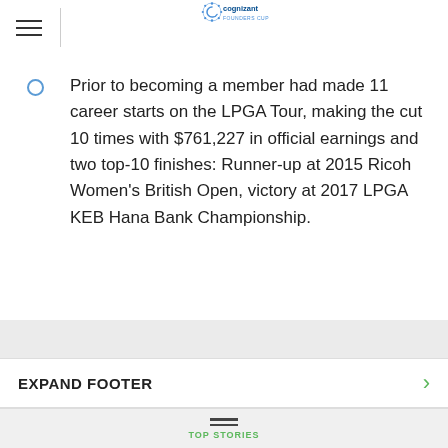Cognizant Founders Cup
Prior to becoming a member had made 11 career starts on the LPGA Tour, making the cut 10 times with $761,227 in official earnings and two top-10 finishes: Runner-up at 2015 Ricoh Women's British Open, victory at 2017 LPGA KEB Hana Bank Championship.
EXPAND FOOTER
TOP STORIES